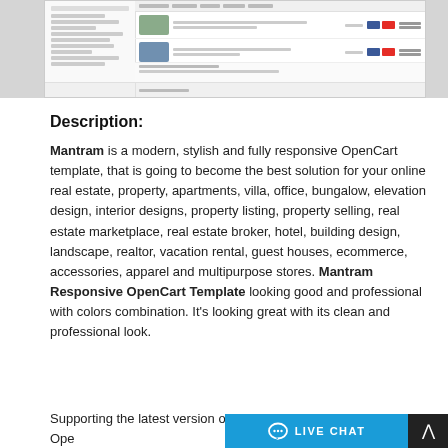[Figure (screenshot): Screenshot of a real estate OpenCart template admin/listing interface showing property rows with thumbnails, blue and red social buttons, and prices in a table layout with a left sidebar navigation.]
Description:
Mantram is a modern, stylish and fully responsive OpenCart template, that is going to become the best solution for your online real estate, property, apartments, villa, office, bungalow, elevation design, interior designs, property listing, property selling, real estate marketplace, real estate broker, hotel, building design, landscape, realtor, vacation rental, guest houses, ecommerce, accessories, apparel and multipurpose stores. Mantram Responsive OpenCart Template looking good and professional with colors combination. It's looking great with its clean and professional look.
Supporting the latest version of OpenCart template having all features of a mo...